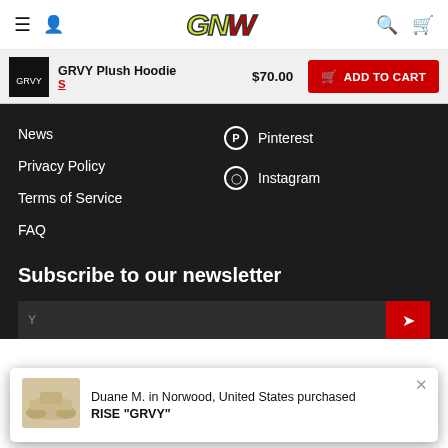GNW logo navigation header with hamburger menu, user icon, logo, search and cart icons
GRVY Plush Hoodie S $70.00 ADD TO CART
News
Privacy Policy
Terms of Service
FAQ
Pinterest
Instagram
Subscribe to our newsletter
Duane M. in Norwood, United States purchased RISE "GRVY"